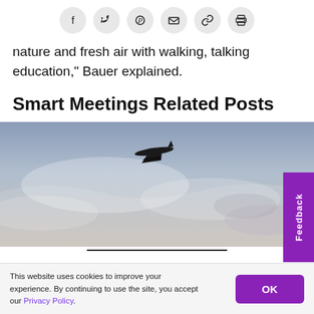[Figure (other): Row of social sharing icon buttons: Facebook, Twitter, Pinterest, Email, Link, Print — each in a light gray circle]
nature and fresh air with walking, talking education," Bauer explained.
Smart Meetings Related Posts
[Figure (photo): Photograph of an airplane silhouette flying through a cloudy, hazy sky with soft purple and gray tones]
This website uses cookies to improve your experience. By continuing to use the site, you accept our Privacy Policy.